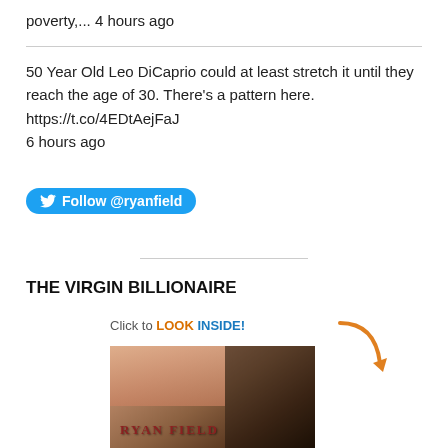poverty,... 4 hours ago
50 Year Old Leo DiCaprio could at least stretch it until they reach the age of 30. There's a pattern here. https://t.co/4EDtAejFaJ 6 hours ago
[Figure (other): Twitter Follow button with bird icon: Follow @ryanfield]
THE VIRGIN BILLIONAIRE
[Figure (other): Book cover image for 'The Virgin Billionaire' by Ryan Field with 'Click to LOOK INSIDE!' banner and arrow overlay]